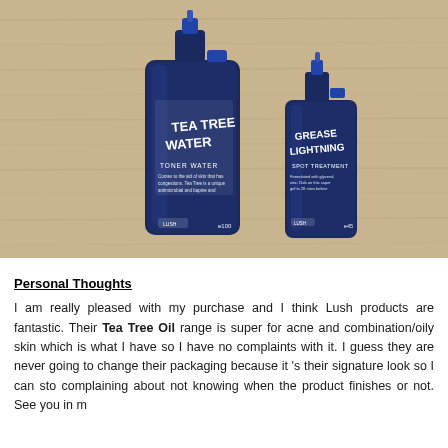[Figure (photo): Two dark blue LUSH spray bottles on a wooden bamboo surface. The larger bottle on the left is labeled 'Tea Tree Water Toner Water' and the smaller bottle on the right is labeled 'Grease Lightning Spot Treatment'.]
Personal Thoughts
I am really pleased with my purchase and I think Lush products are fantastic. Their Tea Tree Oil range is super for acne and combination/oily skin which is what I have so I have no complaints with it. I guess they are never going to change their packaging because it 's their signature look so I can stop complaining about not knowing when the product finishes or not. See you in m